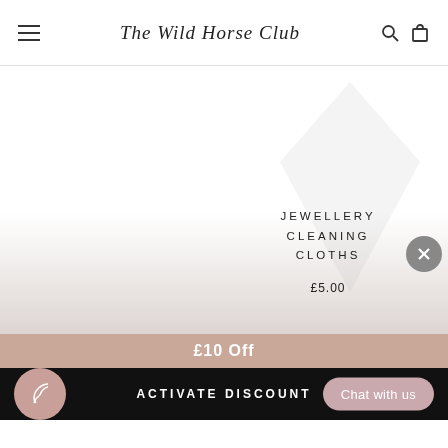The Wild Horse Club
[Figure (screenshot): Product image area with a faint diamond/arrow watermark on white-to-pink gradient background]
JEWELLERY CLEANING CLOTHS
£5.00
£10 Off
ACTIVATE DISCOUNT
Chat with us